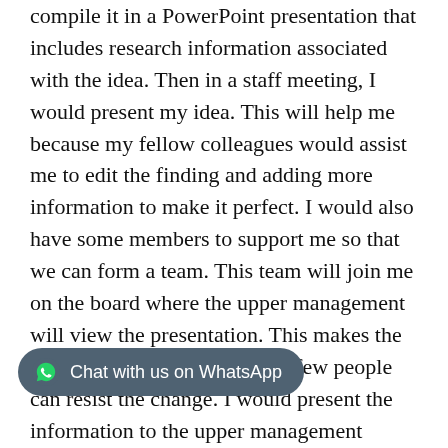compile it in a PowerPoint presentation that includes research information associated with the idea. Then in a staff meeting, I would present my idea. This will help me because my fellow colleagues would assist me to edit the finding and adding more information to make it perfect. I would also have some members to support me so that we can form a team. This team will join me on the board where the upper management will view the presentation. This makes the idea more realistic and only a few people can resist the change. I would present the information to the upper management verbally to ensure that the project importance is understood. I would use the corporate social responsibility model which is reproductive, standardization as well as consistency. Once the trial runs effectively, I would develop another presentation containing the stated problem and statistical research. This information can be presented using the visual graphs as well as employee accounts of experience to ensure that the idea